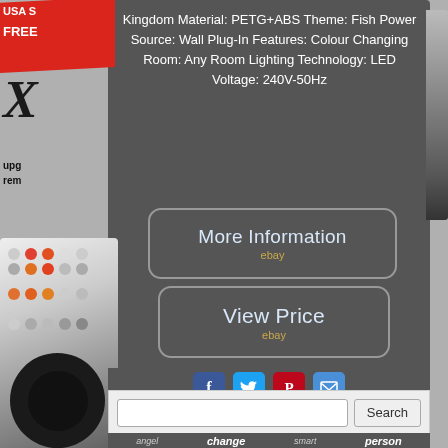Kingdom Material: PETG+ABS Theme: Fish Power Source: Wall Plug-In Features: Colour Changing Room: Any Room Lighting Technology: LED Voltage: 240V-50Hz
[Figure (screenshot): More Information button with ebay branding, rounded rectangle border]
[Figure (screenshot): View Price button with ebay branding, rounded rectangle border]
[Figure (screenshot): Social media sharing icons: Facebook, Twitter, Pinterest, Email]
[Figure (screenshot): Search box with Search button]
angel  change  smart  person